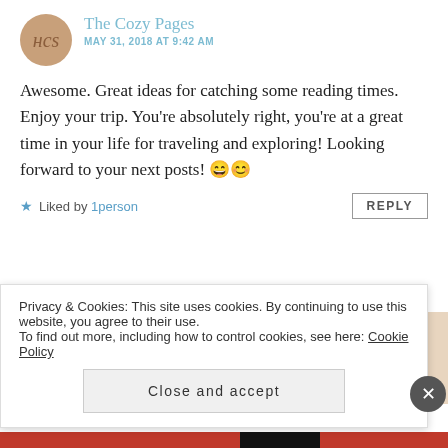The Cozy Pages — MAY 31, 2018 AT 9:42 AM
Awesome. Great ideas for catching some reading times. Enjoy your trip. You're absolutely right, you're at a great time in your life for traveling and exploring! Looking forward to your next posts! 😄😊
★ Liked by 1person   REPLY
Trang (Bookidote)
Privacy & Cookies: This site uses cookies. By continuing to use this website, you agree to their use.
To find out more, including how to control cookies, see here: Cookie Policy
Close and accept